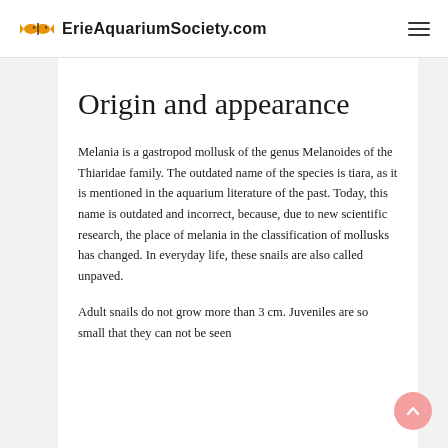ErieAquariumSociety.com
Origin and appearance
Melania is a gastropod mollusk of the genus Melanoides of the Thiaridae family. The outdated name of the species is tiara, as it is mentioned in the aquarium literature of the past. Today, this name is outdated and incorrect, because, due to new scientific research, the place of melania in the classification of mollusks has changed. In everyday life, these snails are also called unpaved.
Adult snails do not grow more than 3 cm. Juveniles are so small that they can not be seen